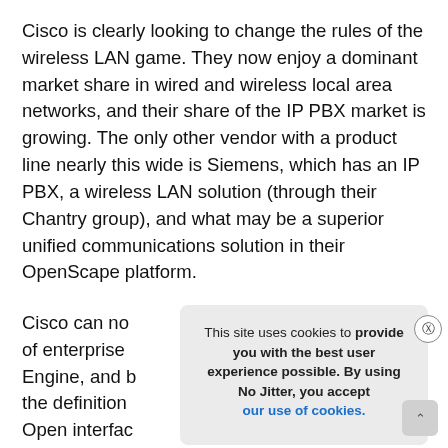Cisco is clearly looking to change the rules of the wireless LAN game. They now enjoy a dominant market share in wired and wireless local area networks, and their share of the IP PBX market is growing. The only other vendor with a product line nearly this wide is Siemens, which has an IP PBX, a wireless LAN solution (through their Chantry group), and what may be a superior unified communications solution in their OpenScape platform.
Cisco can no [obscured by overlay] ensive picture of enterprise [obscured] rvices Engine, and b[obscured] an expand the definition [obscured] ond Wi-Fi. Open interfac[obscured] partners t develop appli[obscured] on
[Figure (other): Cookie consent popup overlay with close button (X). Text reads: 'This site uses cookies to provide you with the best user experience possible. By using No Jitter, you accept our use of cookies.' with a blue hyperlink for 'our use of cookies.']